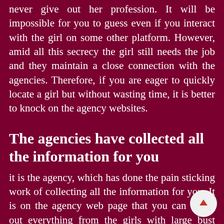never give out her profession. It will be impossible for you to guess even if you interact with the girl on some other platform. However, amid all this secrecy the girl still needs the job and they maintain a close connection with the agencies. Therefore, if you are eager to quickly locate a girl but without wasting time, it is better to knock on the agency websites.
The agencies have collected all the information for you
it is the agency, which has done the pain sticking work of collecting all the information for you. It is on the agency web page that you can check out everything from the girls with large bust sizes to the petite divas. The agencies